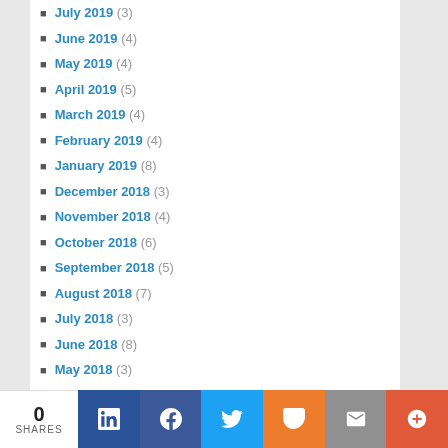July 2019 (3)
June 2019 (4)
May 2019 (4)
April 2019 (5)
March 2019 (4)
February 2019 (4)
January 2019 (8)
December 2018 (3)
November 2018 (4)
October 2018 (6)
September 2018 (5)
August 2018 (7)
July 2018 (3)
June 2018 (8)
May 2018 (3)
April 2018 (8)
March 2018 (6)
February 2018 (7)
January 2018 (6)